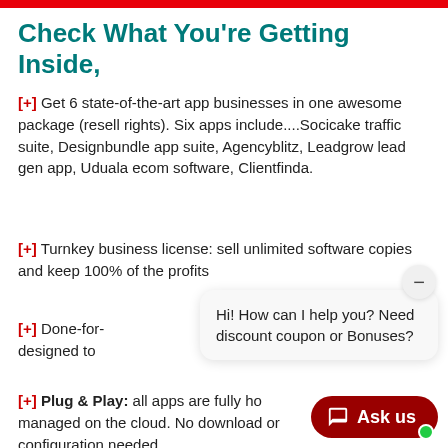Check What You're Getting Inside,
[+] Get 6 state-of-the-art app businesses in one awesome package (resell rights). Six apps include....Socicake traffic suite, Designbundle app suite, Agencyblitz, Leadgrow lead gen app, Uduala ecom software, Clientfinda.
[+] Turnkey business license: sell unlimited software copies and keep 100% of the profits
[+] Done-for- ... is designed to ...
[+] Plug & Play: all apps are fully hosted and managed on the cloud. No download or configuration needed